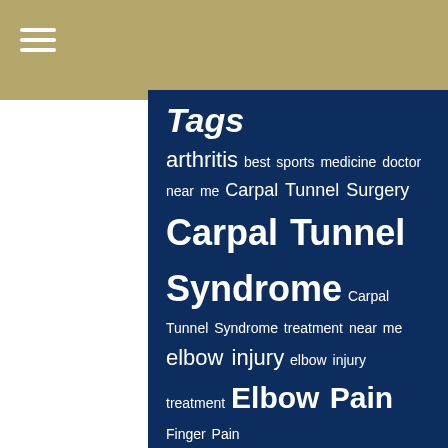Tags arthritis best sports medicine doctor near me Carpal Tunnel Surgery Carpal Tunnel Syndrome Carpal Tunnel Syndrome treatment near me elbow injury elbow injury treatment Elbow Pain Finger Pain Greater Chesapeake Hand Specialists Greater Chesapeake Hand to Shoulder hand arthritis Hand doctor near me hand injury Hand Pain hand specialist Hand...